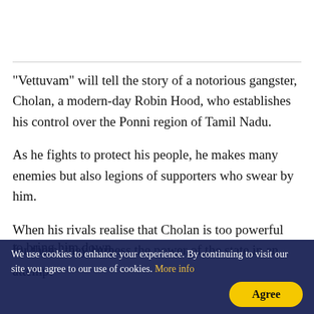"Vettuvam" will tell the story of a notorious gangster, Cholan, a modern-day Robin Hood, who establishes his control over the Ponni region of Tamil Nadu.
As he fights to protect his people, he makes many enemies but also legions of supporters who swear by him.
When his rivals realise that Cholan is too powerful for them, they harness the power of the state in an attempt to bring him down.
We use cookies to enhance your experience. By continuing to visit our site you agree to our use of cookies. More info